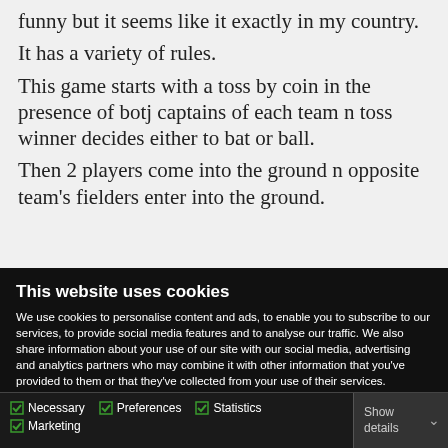funny but it seems like it exactly in my country. It has a variety of rules. This game starts with a toss by coin in the presence of botj captains of each team n toss winner decides either to bat or ball. Then 2 players come into the ground n opposite team's fielders enter into the ground.
This website uses cookies
We use cookies to personalise content and ads, to enable you to subscribe to our services, to provide social media features and to analyse our traffic. We also share information about your use of our site with our social media, advertising and analytics partners who may combine it with other information that you've provided to them or that they've collected from your use of their services.
Deny | Allow selection | Allow all
Necessary  Preferences  Statistics  Marketing  Show details